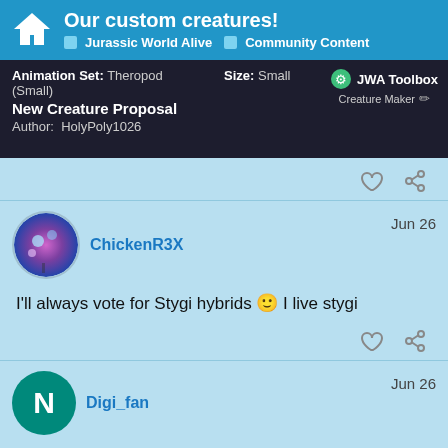Our custom creatures! Jurassic World Alive Community Content
Animation Set: Theropod (Small)   Size: Small
New Creature Proposal
Author: HolyPoly1026
JWA Toolbox Creature Maker
ChickenR3X   Jun 26
I'll always vote for Stygi hybrids 🙂 I live stygi
Digi_fan   Jun 26
Mujundaboa epic hybrid + skoonasaurus u
into the more beautiful unique mixed cele    4893 / 5608